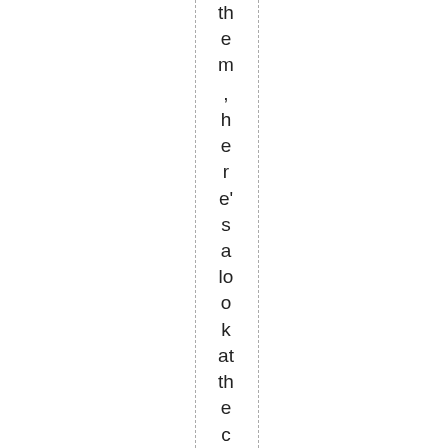them, here's a look at the college texts th